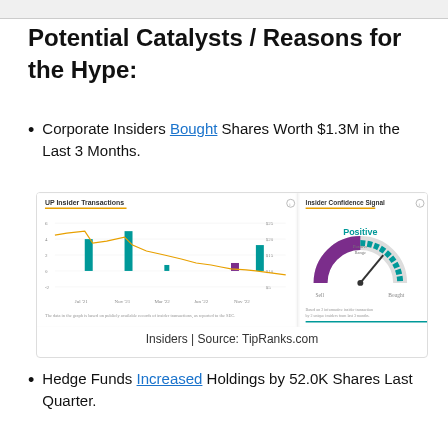Potential Catalysts / Reasons for the Hype:
Corporate Insiders Bought Shares Worth $1.3M in the Last 3 Months.
[Figure (other): Screenshot of UP Insider Transactions chart showing bar chart of insider buy/sell transactions over time with an orange price line overlay, alongside an Insider Confidence Signal gauge showing 'Positive' reading between Sell and Bought.]
Insiders | Source: TipRanks.com
Hedge Funds Increased Holdings by 52.0K Shares Last Quarter.